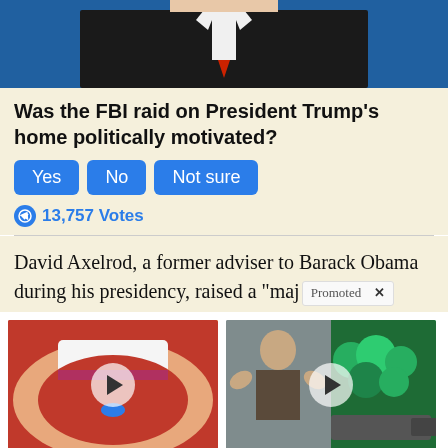[Figure (photo): Partial photo of a person in a dark suit with a red tie, with blue background, cropped at top]
Was the FBI raid on President Trump's home politically motivated?
Yes  No  Not sure (poll buttons)
13,757 Votes
David Axelrod, a former adviser to Barack Obama during his presidency, raised a “maj
[Figure (photo): Close-up of mouth with tongue out and blue pill, with play button overlay - ad for Metformin]
What They Didn't Want You Knowing About Metformin
4,353
[Figure (photo): Split image: shirtless muscular man flexing and broccoli in pan, with play button overlay - Celebrity Trainer ad]
Celebrity Trainer: 'Muscle Loss In Seniors Is Real, But It Doesn't Have To Be'
772